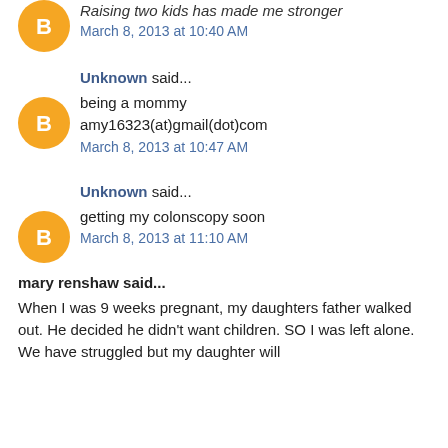Raising two kids has made me stronger
March 8, 2013 at 10:40 AM
Unknown said...
being a mommy amy16323(at)gmail(dot)com
March 8, 2013 at 10:47 AM
Unknown said...
getting my colonscopy soon
March 8, 2013 at 11:10 AM
mary renshaw said...
When I was 9 weeks pregnant, my daughters father walked out. He decided he didn't want children. SO I was left alone. We have struggled but my daughter will